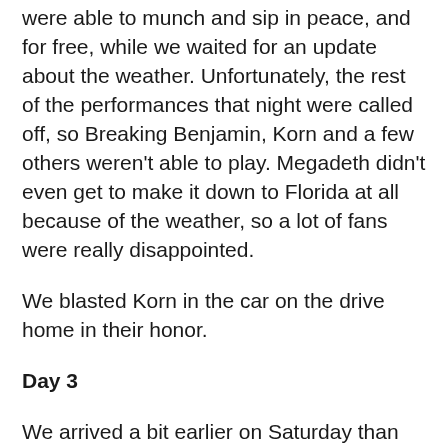were able to munch and sip in peace, and for free, while we waited for an update about the weather. Unfortunately, the rest of the performances that night were called off, so Breaking Benjamin, Korn and a few others weren't able to play. Megadeth didn't even get to make it down to Florida at all because of the weather, so a lot of fans were really disappointed.
We blasted Korn in the car on the drive home in their honor.
Day 3
We arrived a bit earlier on Saturday than the previous days. Spending more time at the festival grounds likely means you'll be eating and drinking